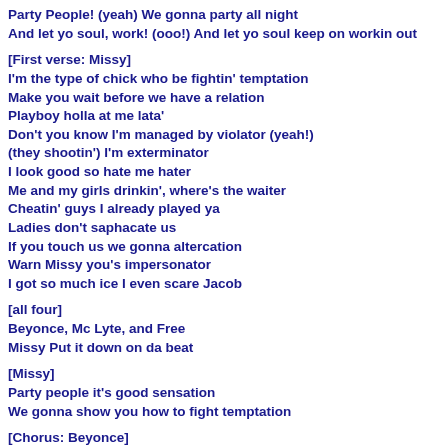Party People! (yeah) We gonna party all night
And let yo soul, work! (ooo!) And let yo soul keep on workin out
[First verse: Missy]
I'm the type of chick who be fightin' temptation
Make you wait before we have a relation
Playboy holla at me lata'
Don't you know I'm managed by violator (yeah!)
(they shootin') I'm exterminator
I look good so hate me hater
Me and my girls drinkin', where's the waiter
Cheatin' guys I already played ya
Ladies don't saphacate us
If you touch us we gonna altercation
Warn Missy you's impersonator
I got so much ice I even scare Jacob
[all four]
Beyonce, Mc Lyte, and Free
Missy Put it down on da beat
[Missy]
Party people it's good sensation
We gonna show you how to fight temptation
[Chorus: Beyonce]
I'm just fighting temptation (yeah)
Gotta get more control (control, yeah)
Yet it's very tempting when you ask to take me home (home)